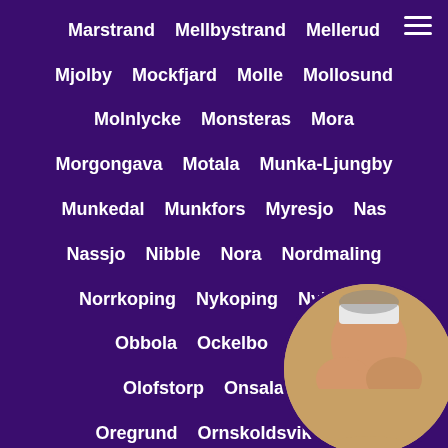Marstrand  Mellbystrand  Mellerud
Mjolby  Mockfjard  Molle  Mollosund
Molnlycke  Monsteras  Mora
Morgongava  Motala  Munka-Ljungby
Munkedal  Munkfors  Myresjo  Nas
Nassjo  Nibble  Nora  Nordmaling
Norrkoping  Nykoping  Nykvarn
Obbola  Ockelbo  Odes[...]
Olofstorp  Onsala  Or[...]
Oregrund  Ornskoldsvik  Or[...]